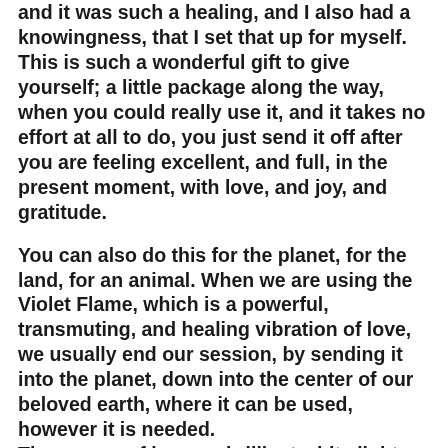and it was such a healing, and I also had a knowingness, that I set that up for myself. This is such a wonderful gift to give yourself; a little package along the way, when you could really use it, and it takes no effort at all to do, you just send it off after you are feeling excellent, and full, in the present moment, with love, and joy, and gratitude.
You can also do this for the planet, for the land, for an animal. When we are using the Violet Flame, which is a powerful, transmuting, and healing vibration of love, we usually end our session, by sending it into the planet, down into the center of our beloved earth, where it can be used, however it is needed. The energy of love, or brilliant white light, or golden light, or deep peace, or even joy, and gratitude, can be infused, or given as a blessing, that you (or the planet) can use and enjoy, in the future. Transfiguration, or just being that radiant and